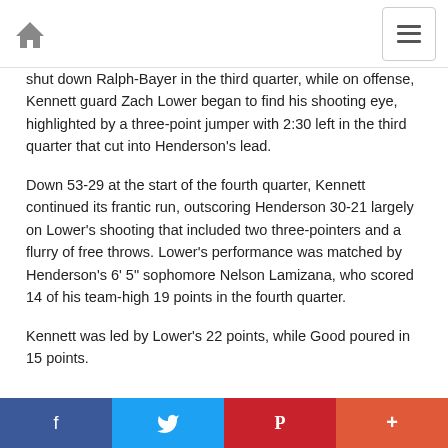Home | Menu
shut down Ralph-Bayer in the third quarter, while on offense, Kennett guard Zach Lower began to find his shooting eye, highlighted by a three-point jumper with 2:30 left in the third quarter that cut into Henderson's lead.
Down 53-29 at the start of the fourth quarter, Kennett continued its frantic run, outscoring Henderson 30-21 largely on Lower's shooting that included two three-pointers and a flurry of free throws. Lower's performance was matched by Henderson's 6' 5" sophomore Nelson Lamizana, who scored 14 of his team-high 19 points in the fourth quarter.
Kennett was led by Lower's 22 points, while Good poured in 15 points.
Facebook | Twitter | Pinterest | +